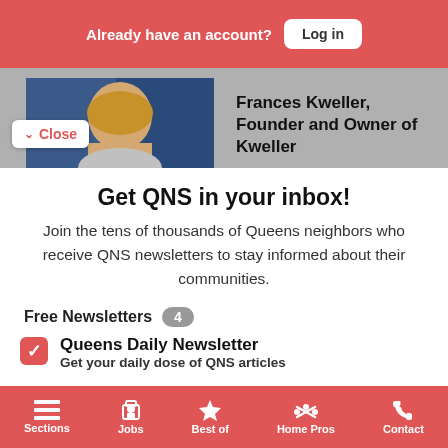Already have an account? Log in
[Figure (photo): Photo of Frances Kweller, woman with blonde hair against blue background]
Frances Kweller, Founder and Owner of Kweller
Get QNS in your inbox!
Join the tens of thousands of Queens neighbors who receive QNS newsletters to stay informed about their communities.
Free Newsletters 4
Queens Daily Newsletter
Get your daily dose of QNS articles
Sections  Jobs  Best of  Home Pros  Contact